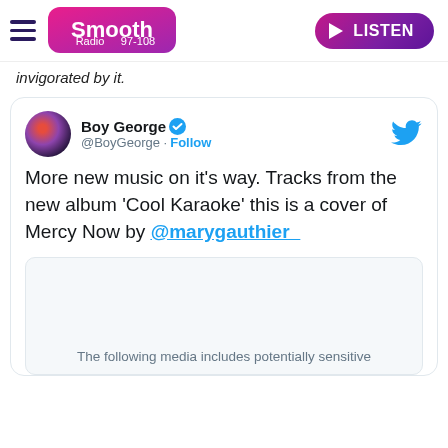Smooth Radio 97-108 | LISTEN
invigorated by it.
[Figure (screenshot): Tweet from Boy George (@BoyGeorge) with verified checkmark and Follow button. Tweet text: More new music on it's way. Tracks from the new album 'Cool Karaoke' this is a cover of Mercy Now by @marygauthier_. Nested media card showing: The following media includes potentially sensitive]
The following media includes potentially sensitive